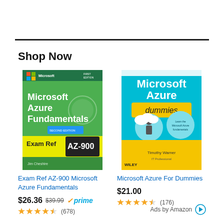Shop Now
[Figure (photo): Book cover: Exam Ref AZ-900 Microsoft Azure Fundamentals, green cover with Microsoft branding]
Exam Ref AZ-900 Microsoft Azure Fundamentals
$26.36  $39.99  prime  (678)
[Figure (photo): Book cover: Microsoft Azure For Dummies, blue and yellow cover with Wiley branding]
Microsoft Azure For Dummies
$21.00  (176)
Ads by Amazon